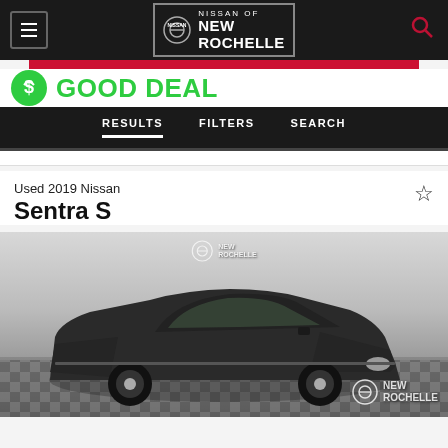[Figure (screenshot): Nissan of New Rochelle dealership website header with logo, menu icon, and search icon on dark background]
[Figure (logo): Good Deal badge with green circular icon and bold green text 'GOOD DEAL']
RESULTS   FILTERS   SEARCH
Used 2019 Nissan
Sentra S
[Figure (photo): Dark grey/black 2019 Nissan Sentra S sedan photographed in a dealership showroom with checkered tile floor. Nissan of New Rochelle watermarks appear top-center and bottom-right of the photo.]